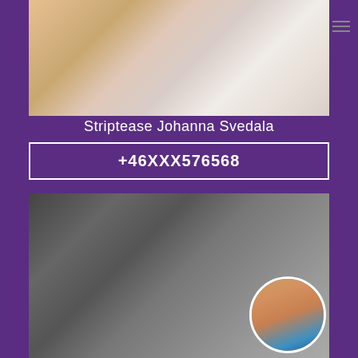[Figure (photo): Top photo of a blonde person posed on white bedding, cropped to torso/lower body area]
Striptease Johanna Svedala
+46XXX576568
[Figure (photo): Black and white photo of a dark-haired woman in lingerie, with a circular inset color photo overlay in the bottom right corner]